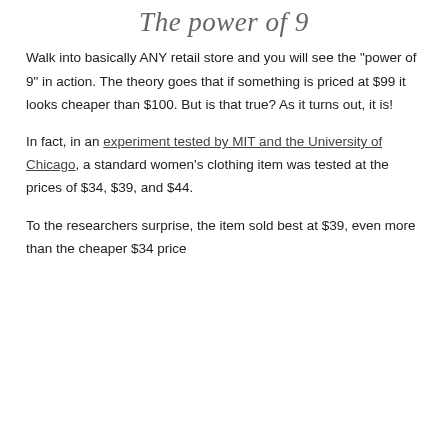The power of 9
Walk into basically ANY retail store and you will see the "power of 9" in action. The theory goes that if something is priced at $99 it looks cheaper than $100. But is that true? As it turns out, it is!
In fact, in an experiment tested by MIT and the University of Chicago, a standard women's clothing item was tested at the prices of $34, $39, and $44.
To the researchers surprise, the item sold best at $39, even more than the cheaper $34 price